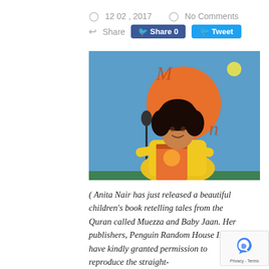12 02 , 2017   No Comments
Share  [Facebook Share 0]  [Twitter Tweet]
[Figure (photo): A woman with curly dark hair, wearing a yellow outfit, holding a children's book titled 'Muezza and Baby Jaan', standing in front of a blue banner with an orange circle, at what appears to be a book launch event.]
( Anita Nair has just released a beautiful children's book retelling tales from the Quran called Muezza and Baby Jaan. Her publishers, Penguin Random House India, have kindly granted permission to reproduce the straight-